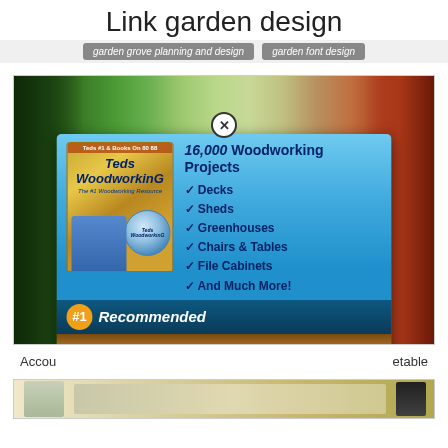Link garden design
garden grove planning and design   garden font design
[Figure (screenshot): Background photo of garden with tomato plants and woman, with a popup advertisement overlay for Ted's Woodworking offering 16,000 Woodworking Projects including Decks, Sheds, Greenhouses, Chairs & Tables, File Cabinets, And Much More! with a Download Your Plans Now button and #1 Recommended badge]
Accou... ...etable